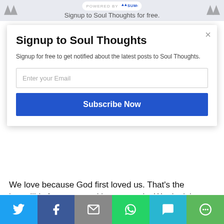Signup to Soul Thoughts for free.
Signup to Soul Thoughts
Signup for free to get notified about the latest posts to Soul Thoughts.
Enter your Email
Subscribe Now
We love because God first loved us. That's the incredibly fortunate position we are in. We don't have to make the first move. It's already been done for us. You have nothing to prove. We already have what we crave; we just need to accept it. And when we reject it, we can get up again because that love never leaves us. Nothing can take it away.
Martin Luther King said the moral arc of the universe is
Share buttons: Twitter, Facebook, Email, WhatsApp, SMS, More